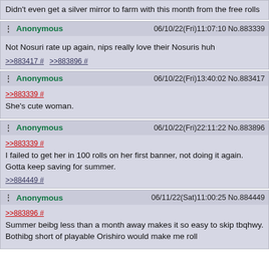Didn't even get a silver mirror to farm with this month from the free rolls
Anonymous 06/10/22(Fri)11:07:10 No.883339
Not Nosuri rate up again, nips really love their Nosuris huh
>>883417 # >>883896 #
Anonymous 06/10/22(Fri)13:40:02 No.883417
>>883339 #
She's cute woman.
Anonymous 06/10/22(Fri)22:11:22 No.883896
>>883339 #
I failed to get her in 100 rolls on her first banner, not doing it again. Gotta keep saving for summer.
>>884449 #
Anonymous 06/11/22(Sat)11:00:25 No.884449
>>883896 #
Summer beibg less than a month away makes it so easy to skip tbqhwy. Bothibg short of playable Orishiro would make me roll